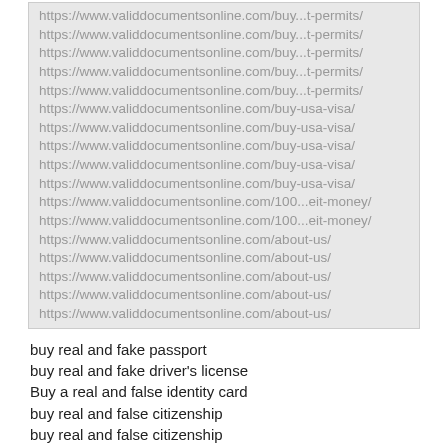https://www.validdocumentsonline.com/buy...t-permits/
https://www.validdocumentsonline.com/buy...t-permits/
https://www.validdocumentsonline.com/buy...t-permits/
https://www.validdocumentsonline.com/buy...t-permits/
https://www.validdocumentsonline.com/buy...t-permits/
https://www.validdocumentsonline.com/buy-usa-visa/
https://www.validdocumentsonline.com/buy-usa-visa/
https://www.validdocumentsonline.com/buy-usa-visa/
https://www.validdocumentsonline.com/buy-usa-visa/
https://www.validdocumentsonline.com/buy-usa-visa/
https://www.validdocumentsonline.com/100...eit-money/
https://www.validdocumentsonline.com/100...eit-money/
https://www.validdocumentsonline.com/about-us/
https://www.validdocumentsonline.com/about-us/
https://www.validdocumentsonline.com/about-us/
https://www.validdocumentsonline.com/about-us/
https://www.validdocumentsonline.com/about-us/
buy real and fake passport
buy real and fake driver's license
Buy a real and false identity card
buy real and false citizenship
buy real and false citizenship